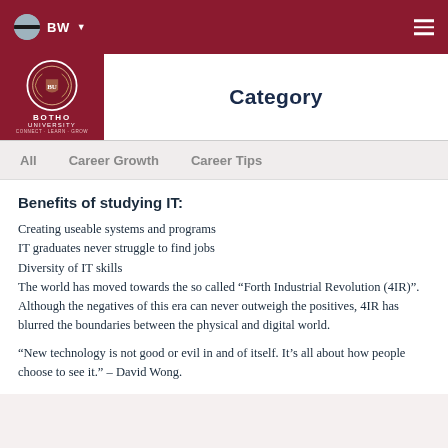BW
[Figure (logo): Botho University circular crest logo on dark red background with text BOTHO UNIVERSITY]
Category
All   Career Growth   Career Tips
Benefits of studying IT:
Creating useable systems and programs
IT graduates never struggle to find jobs
Diversity of IT skills
The world has moved towards the so called "Forth Industrial Revolution (4IR)". Although the negatives of this era can never outweigh the positives, 4IR has blurred the boundaries between the physical and digital world.
"New technology is not good or evil in and of itself. It's all about how people choose to see it." – David Wong.